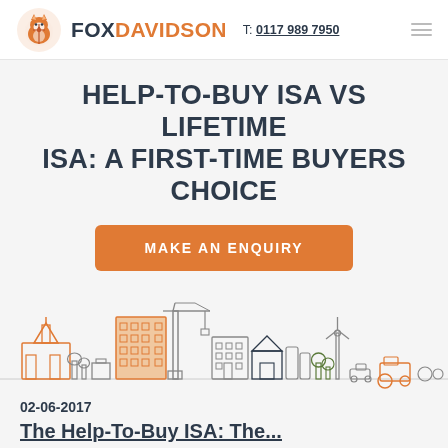FOX DAVIDSON   T: 0117 989 7950
HELP-TO-BUY ISA VS LIFETIME ISA: A FIRST-TIME BUYERS CHOICE
MAKE AN ENQUIRY
[Figure (illustration): Cityscape illustration with buildings, crane, wind turbine, tractor, and farm equipment in an outline/icon style with orange and grey colours]
02-06-2017
The Help-To-Buy ISA: The...